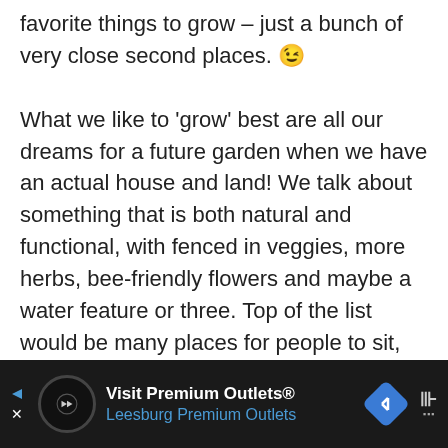favorite things to grow – just a bunch of very close second places. 😉

What we like to 'grow' best are all our dreams for a future garden when we have an actual house and land! We talk about something that is both natural and functional, with fenced in veggies, more herbs, bee-friendly flowers and maybe a water feature or three. Top of the list would be many places for people to sit, relax and soak in nature! (The recent post about Mrs. UR's garden was like seeing some of
[Figure (other): Advertisement banner at bottom of page. Dark background. Shows 'Visit Premium Outlets® Leesburg Premium Outlets' text with a circular logo icon and a blue diamond navigation icon on the right. Small play triangle and X icons on left side.]